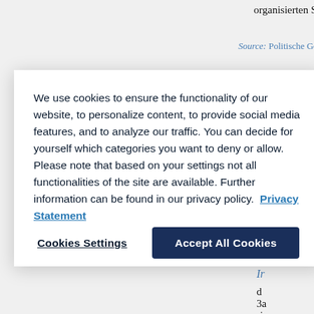organisierten Sanktionsapparat gar
Source: Politische Geschichte...
[Figure (screenshot): Cookie consent overlay dialog on a webpage. Contains cookie notice text and two buttons: 'Cookies Settings' and 'Accept All Cookies'.]
We use cookies to ensure the functionality of our website, to personalize content, to provide social media features, and to analyze our traffic. You can decide for yourself which categories you want to deny or allow. Please note that based on your settings not all functionalities of the site are available. Further information can be found in our privacy policy. Privacy Statement
Cookies Settings
Accept All Cookies
Ir
d
3a
ris
(: III.) unterschieden wird. In der k umstritten, ob »das U.« eine (ideale spannungsvolle »Gesch. des U.« (F. dem Begriff die Anfangszeit des Ch bes. theol. ...
Source: Religion in Geschichte und